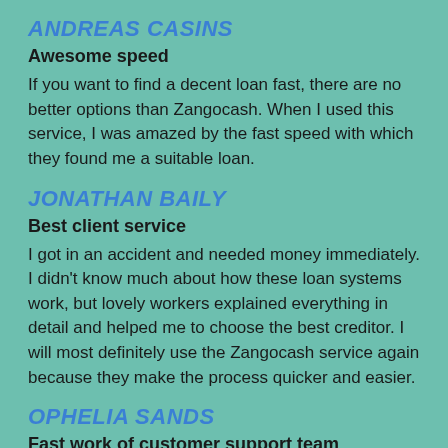ANDREAS CASINS
Awesome speed
If you want to find a decent loan fast, there are no better options than Zangocash. When I used this service, I was amazed by the fast speed with which they found me a suitable loan.
JONATHAN BAILY
Best client service
I got in an accident and needed money immediately. I didn’t know much about how these loan systems work, but lovely workers explained everything in detail and helped me to choose the best creditor. I will most definitely use the Zangocash service again because they make the process quicker and easier.
OPHELIA SANDS
Fast work of customer support team